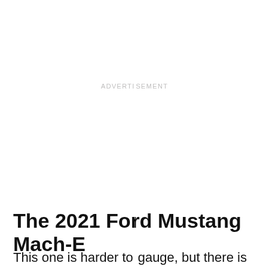ADVERTISEMENT
The 2021 Ford Mustang Mach-E
This one is harder to gauge, but there is no